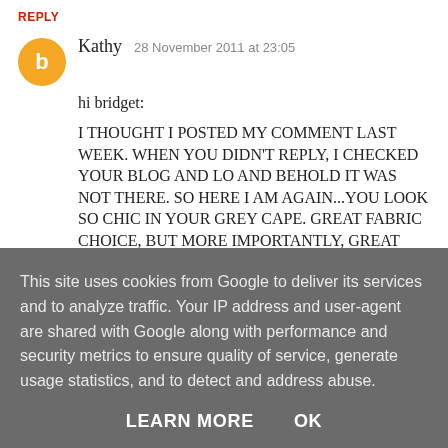REPLY
Kathy  28 November 2011 at 23:05
hi bridget:
I THOUGHT I POSTED MY COMMENT LAST WEEK. WHEN YOU DIDN'T REPLY, I CHECKED YOUR BLOG AND LO AND BEHOLD IT WAS NOT THERE. SO HERE I AM AGAIN...YOU LOOK SO CHIC IN YOUR GREY CAPE. GREAT FABRIC CHOICE, BUT MORE IMPORTANTLY, GREAT PATTERN! LOL. WE WOULD LOVE TO POST IT ON OUR FACEBOOK PAGE:
This site uses cookies from Google to deliver its services and to analyze traffic. Your IP address and user-agent are shared with Google along with performance and security metrics to ensure quality of service, generate usage statistics, and to detect and address abuse.
LEARN MORE    OK